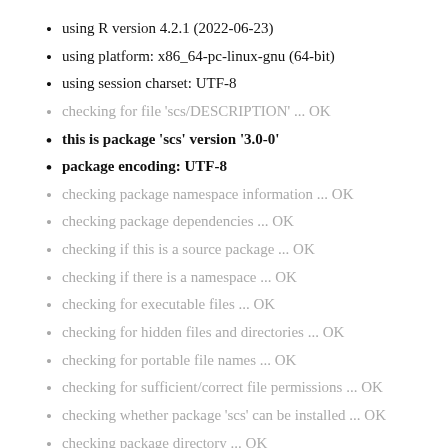using R version 4.2.1 (2022-06-23)
using platform: x86_64-pc-linux-gnu (64-bit)
using session charset: UTF-8
checking for file ‘scs/DESCRIPTION’ ... OK
this is package ‘scs’ version ‘3.0-0’
package encoding: UTF-8
checking package namespace information ... OK
checking package dependencies ... OK
checking if this is a source package ... OK
checking if there is a namespace ... OK
checking for executable files ... OK
checking for hidden files and directories ... OK
checking for portable file names ... OK
checking for sufficient/correct file permissions ... OK
checking whether package ‘scs’ can be installed ... OK
checking package directory ... OK
checking for future file timestamps ... OK
checking DESCRIPTION meta-information ... OK
checking top-level files ... OK
checking for left-over files ... OK
checking index information ... OK
checking package subdirectories ... OK
checking R files for non-ASCII characters ... OK
checking R files for syntax errors ... OK